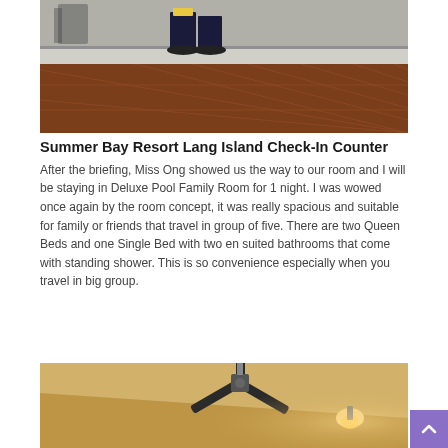[Figure (photo): Hotel check-in counter area showing a staff member's legs and feet behind the counter, with terracotta-colored tiled floor and grey counter front]
Summer Bay Resort Lang Island Check-In Counter
After the briefing, Miss Ong showed us the way to our room and I will be staying in Deluxe Pool Family Room for 1 night. I was wowed once again by the room concept, it was really spacious and suitable for family or friends that travel in group of five. There are two Queen Beds and one Single Bed with two en suited bathrooms that come with standing shower. This is so convenience especially when you travel in big group.
[Figure (photo): Interior of a hotel room showing a ceiling fan and warm wall lighting on a textured golden-brown wall]